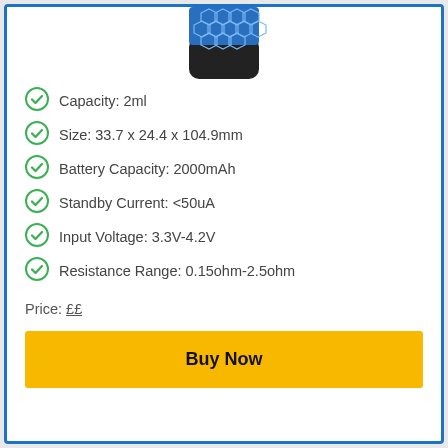[Figure (photo): Partial view of a blue hexagonal-patterned vape/e-cigarette device with a dark rounded bottom, shown cropped at top of card]
Capacity: 2ml
Size: 33.7 x 24.4 x 104.9mm
Battery Capacity: 2000mAh
Standby Current: <50uA
Input Voltage: 3.3V-4.2V
Resistance Range: 0.15ohm-2.5ohm
Price: ££
Buy Now